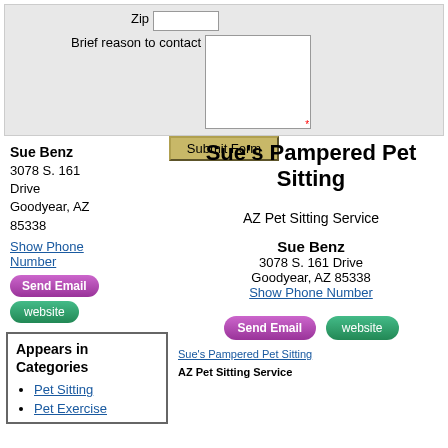Brief reason to contact [textarea]
Submit Form
Sue Benz
3078 S. 161 Drive
Goodyear, AZ 85338
Show Phone Number
Send Email
website
Sue's Pampered Pet Sitting
AZ Pet Sitting Service
Sue Benz
3078 S. 161 Drive
Goodyear, AZ 85338
Show Phone Number
Send Email
website
Appears in Categories
Pet Sitting
Pet Exercise
Sue's Pampered Pet Sitting
AZ Pet Sitting Service